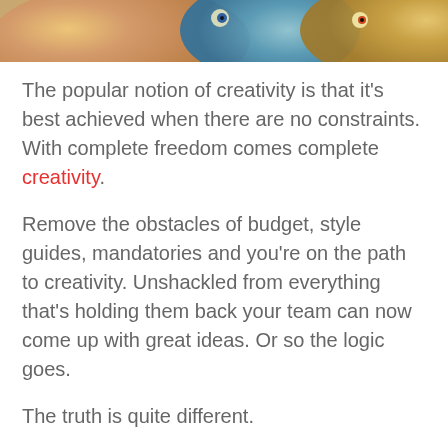[Figure (photo): Cropped top portion of an illustrated or artistic image showing colorful fish or bird faces with vivid colors including orange, blue, and yellow tones.]
The popular notion of creativity is that it's best achieved when there are no constraints. With complete freedom comes complete creativity.
Remove the obstacles of budget, style guides, mandatories and you're on the path to creativity. Unshackled from everything that's holding them back your team can now come up with great ideas. Or so the logic goes.
The truth is quite different.
Not only do constraints not hold you back, they can actually boost creativity. As counter-intuitive as that sounds, but it